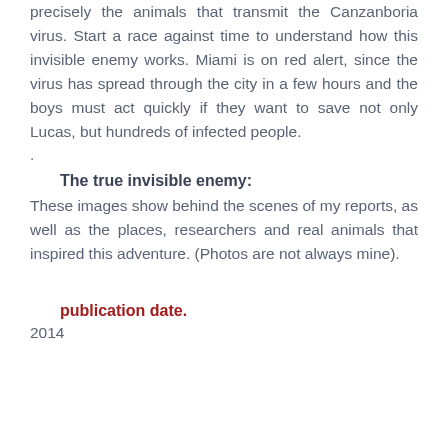precisely the animals that transmit the Canzanboria virus. Start a race against time to understand how this invisible enemy works. Miami is on red alert, since the virus has spread through the city in a few hours and the boys must act quickly if they want to save not only Lucas, but hundreds of infected people.
.
The true invisible enemy:
These images show behind the scenes of my reports, as well as the places, researchers and real animals that inspired this adventure. (Photos are not always mine).
publication date.
2014